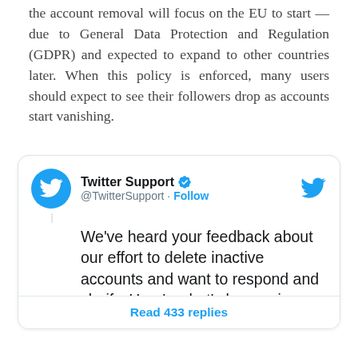the account removal will focus on the EU to start — due to General Data Protection and Regulation (GDPR) and expected to expand to other countries later. When this policy is enforced, many users should expect to see their followers drop as accounts start vanishing.
[Figure (screenshot): Embedded tweet from Twitter Support (@TwitterSupport) with blue bird logo and Follow button. Tweet text: We've heard your feedback about our effort to delete inactive accounts and want to respond and clarify. Here's what's happening: — partially cut off. Footer shows 'Read 433 replies' link.]
Our website uses cookies to improve your experience. Learn more
Accept !